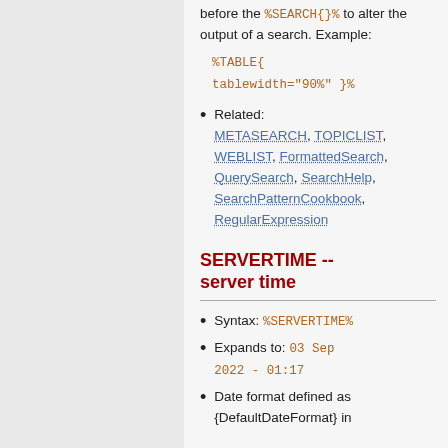before the %SEARCH{}% to alter the output of a search. Example:
%TABLE{ tablewidth="90%" }%
Related: METASEARCH, TOPICLIST, WEBLIST, FormattedSearch, QuerySearch, SearchHelp, SearchPatternCookbook, RegularExpression
SERVERTIME -- server time
Syntax: %SERVERTIME%
Expands to: 03 Sep 2022 - 01:17
Date format defined as {DefaultDateFormat} in